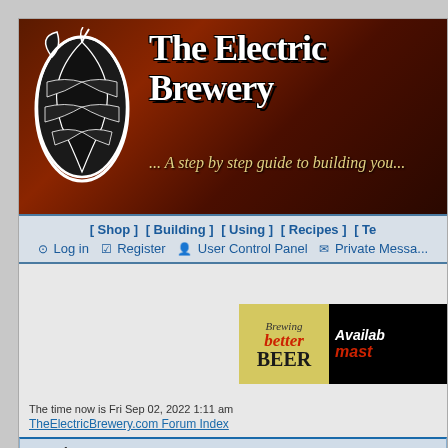[Figure (logo): The Electric Brewery website banner with hop logo and text 'The Electric Brewery ... A step by step guide to building you']
[ Shop ]  [ Building ]  [ Using ]  [ Recipes ]  [ Te
Log in  Register  User Control Panel  Private Messa
[Figure (illustration): Advertisement for 'Brewing better BEER' book - Available to master brewers]
The time now is Fri Sep 02, 2022 1:11 am
TheElectricBrewery.com Forum Index
Log in